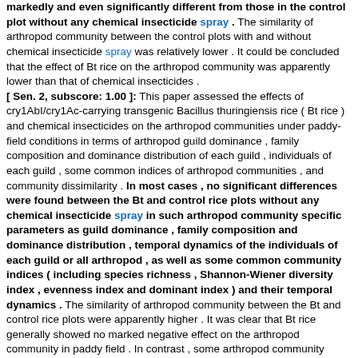markedly and even significantly different from those in the control plot without any chemical insecticide spray . The similarity of arthropod community between the control plots with and without chemical insecticide spray was relatively lower . It could be concluded that the effect of Bt rice on the arthropod community was apparently lower than that of chemical insecticides . [ Sen. 2, subscore: 1.00 ]: This paper assessed the effects of cry1AbI/cry1Ac-carrying transgenic Bacillus thuringiensis rice ( Bt rice ) and chemical insecticides on the arthropod communities under paddy-field conditions in terms of arthropod guild dominance , family composition and dominance distribution of each guild , individuals of each guild , some common indices of arthropod communities , and community dissimilarity . In most cases , no significant differences were found between the Bt and control rice plots without any chemical insecticide spray in such arthropod community specific parameters as guild dominance , family composition and dominance distribution , temporal dynamics of the individuals of each guild or all arthropod , as well as some common community indices ( including species richness , Shannon-Wiener diversity index , evenness index and dominant index ) and their temporal dynamics . The similarity of arthropod community between the Bt and control rice plots were apparently higher . It was clear that Bt rice generally showed no marked negative effect on the arthropod community in paddy field . In contrast , some arthropod community specific parameters such as guild dominances in the control plot with chemical insecticide spray were in some cases markedly and even significantly different from those in the control plot without any chemical insecticide spray . The similarity of arthropod community between the control plots with and without chemical insecticide spray was relatively lower . It could be concluded that the effect of Bt rice on the arthropod community was apparently lower than that of chemical insecticides .